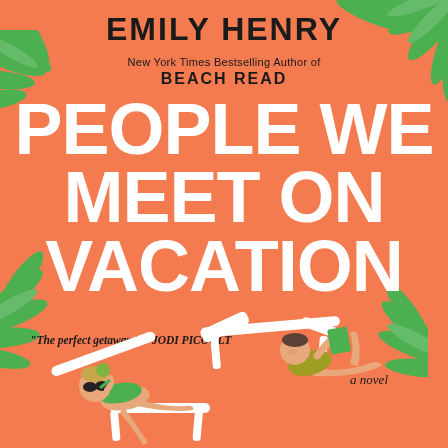[Figure (illustration): Book cover for 'People We Meet on Vacation' by Emily Henry. Orange background with palm leaves, two illustrated people lounging on beach chairs. Author name at top, large white title text in center, Jodi Picoult blurb, and 'a novel' tagline.]